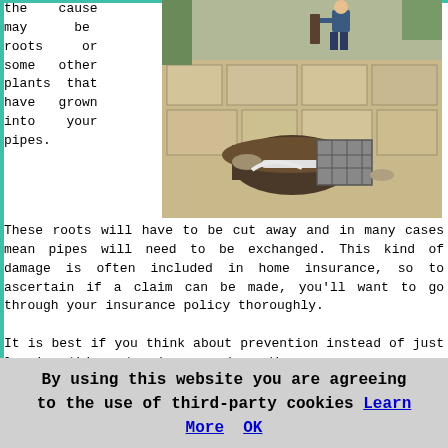the cause may be roots or some other plants that have grown into your pipes.
[Figure (photo): A worker digging up paving stones to access underground pipes in a backyard or patio area]
These roots will have to be cut away and in many cases mean pipes will need to be exchanged. This kind of damage is often included in home insurance, so to ascertain if a claim can be made, you'll want to go through your insurance policy thoroughly.

It is best if you think about prevention instead of just leaving things to chance and needing an emergency cure with your drains. Chat with your neighbourhood Morley drain cleaning service in regards to a regular servicing and maintenance plan that will keep your drain systems and waste pipes clear and free of detritus. When compared with emergency fees, together with the unexpected expense of exchanging faulty waste pipes and additional ancillary materials, you could save a lot of money over time. Hope for the best but prepare for the worst seems to be the
By using this website you are agreeing to the use of third-party cookies Learn More  OK